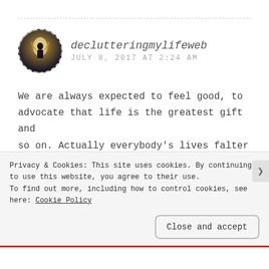[Figure (photo): Circular avatar photo of a person silhouetted against a bright light in an ornate interior, with dashed circular border]
declutteringmylifeweb
JULY 8, 2017 AT 2:24 AM
We are always expected to feel good, to advocate that life is the greatest gift and so on. Actually everybody’s lives falter but we are not supposed to complain. “Keep smiling.” It is so releiving sometimes to realise that our negative thoughts are
Privacy & Cookies: This site uses cookies. By continuing to use this website, you agree to their use.
To find out more, including how to control cookies, see here: Cookie Policy
Close and accept